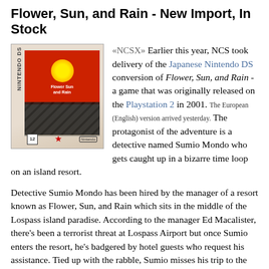Flower, Sun, and Rain - New Import, In Stock
[Figure (photo): Nintendo DS game box for Flower, Sun, and Rain]
«NCSX» Earlier this year, NCS took delivery of the Japanese Nintendo DS conversion of Flower, Sun, and Rain - a game that was originally released on the Playstation 2 in 2001. The European (English) version arrived yesterday. The protagonist of the adventure is a detective named Sumio Mondo who gets caught up in a bizarre time loop on an island resort.
Detective Sumio Mondo has been hired by the manager of a resort known as Flower, Sun, and Rain which sits in the middle of the Lospass island paradise. According to the manager Ed Macalister, there's been a terrorist threat at Lospass Airport but once Sumio enters the resort, he's badgered by hotel guests who request his assistance. Tied up with the rabble, Sumio misses his trip to the airport and a plane explodes while flying over Lospass...